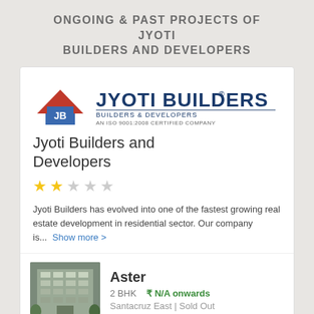ONGOING & PAST PROJECTS OF JYOTI BUILDERS AND DEVELOPERS
[Figure (logo): Jyoti Builders logo with house/JB icon and text: JYOTI BUILDERS, BUILDERS & DEVELOPERS, AN ISO 9001:2008 CERTIFIED COMPANY]
Jyoti Builders and Developers
[Figure (other): 2 filled yellow stars, 3 empty gray stars (rating: 2 out of 5)]
Jyoti Builders has evolved into one of the fastest growing real estate development in residential sector. Our company is... Show more >
[Figure (photo): Photo of a multi-story residential building under construction]
Aster
2 BHK   ₹ N/A onwards
Santacruz East | Sold Out
JYOTI SUKRITI - JYOTI BUILDERS AND